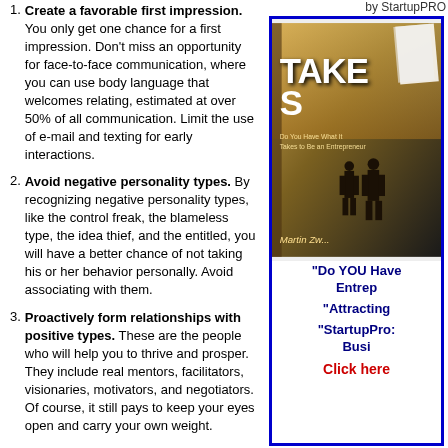1. Create a favorable first impression. You only get one chance for a first impression. Don't miss an opportunity for face-to-face communication, where you can use body language that welcomes relating, estimated at over 50% of all communication. Limit the use of e-mail and texting for early interactions.
2. Avoid negative personality types. By recognizing negative personality types, like the control freak, the blameless type, the idea thief, and the entitled, you will have a better chance of not taking his or her behavior personally. Avoid associating with them.
3. Proactively form relationships with positive types. These are the people who will help you to thrive and prosper. They include real mentors, facilitators, visionaries, motivators, and negotiators. Of course, it still pays to keep your eyes open and carry your own weight.
4. Find a way to motivate others to want to get along with you. Understand your
by StartupPRO
[Figure (photo): Book cover photo showing a book titled 'TAKES' by Martin Zwilling placed on a surface, with a silhouette of two people on the cover.]
"Do YOU Have Entrep
"Attracting
"StartupPro: Busi
Click here